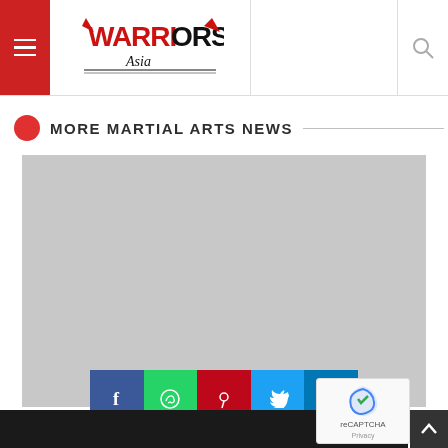Warriors Asia — navigation header with hamburger menu and search icon
MORE MARTIAL ARTS NEWS
[Figure (photo): Large gray image placeholder for a martial arts news article thumbnail]
[Figure (infographic): Social sharing bar with Facebook, WhatsApp, Pinterest, Twitter, and LinkedIn buttons]